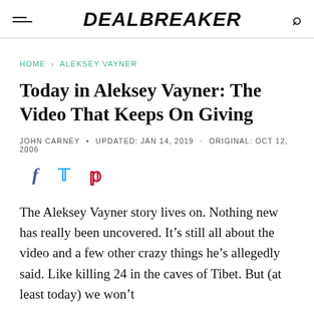DEALBREAKER
HOME > ALEKSEY VAYNER
Today in Aleksey Vayner: The Video That Keeps On Giving
JOHN CARNEY • UPDATED: JAN 14, 2019 · ORIGINAL: OCT 12, 2006
[Figure (other): Social sharing icons: Facebook (f), Twitter (bird), Pinterest (p)]
The Aleksey Vayner story lives on. Nothing new has really been uncovered. It's still all about the video and a few other crazy things he's allegedly said. Like killing 24 in the caves of Tibet. But (at least today) we won't